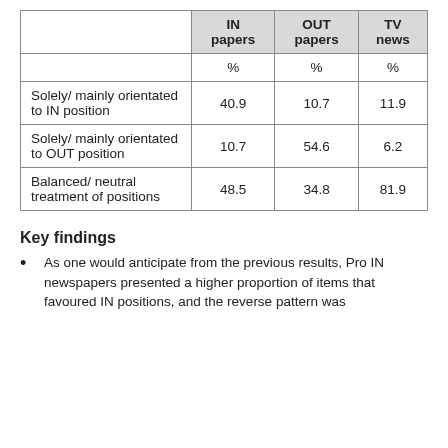|  | IN papers | OUT papers | TV news |
| --- | --- | --- | --- |
|  | % | % | % |
| Solely/ mainly orientated to IN position | 40.9 | 10.7 | 11.9 |
| Solely/ mainly orientated to OUT position | 10.7 | 54.6 | 6.2 |
| Balanced/ neutral treatment of positions | 48.5 | 34.8 | 81.9 |
Key findings
As one would anticipate from the previous results, Pro IN newspapers presented a higher proportion of items that favoured IN positions, and the reverse pattern was